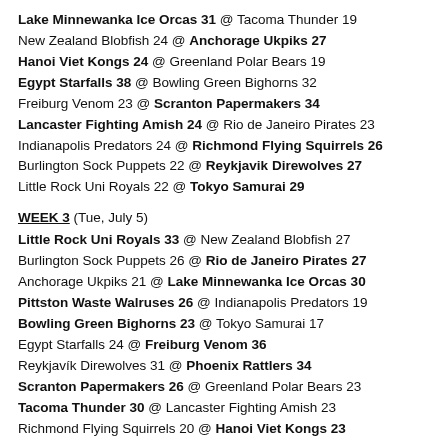Lake Minnewanka Ice Orcas 31 @ Tacoma Thunder 19
New Zealand Blobfish 24 @ Anchorage Ukpiks 27
Hanoi Viet Kongs 24 @ Greenland Polar Bears 19
Egypt Starfalls 38 @ Bowling Green Bighorns 32
Freiburg Venom 23 @ Scranton Papermakers 34
Lancaster Fighting Amish 24 @ Rio de Janeiro Pirates 23
Indianapolis Predators 24 @ Richmond Flying Squirrels 26
Burlington Sock Puppets 22 @ Reykjavik Direwolves 27
Little Rock Uni Royals 22 @ Tokyo Samurai 29
WEEK 3 (Tue, July 5)
Little Rock Uni Royals 33 @ New Zealand Blobfish 27
Burlington Sock Puppets 26 @ Rio de Janeiro Pirates 27
Anchorage Ukpiks 21 @ Lake Minnewanka Ice Orcas 30
Pittston Waste Walruses 26 @ Indianapolis Predators 19
Bowling Green Bighorns 23 @ Tokyo Samurai 17
Egypt Starfalls 24 @ Freiburg Venom 36
Reykjavík Direwolves 31 @ Phoenix Rattlers 34
Scranton Papermakers 26 @ Greenland Polar Bears 23
Tacoma Thunder 30 @ Lancaster Fighting Amish 23
Richmond Flying Squirrels 20 @ Hanoi Viet Kongs 23